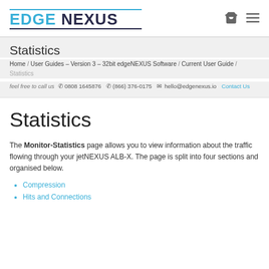EDGE NEXUS logo with cart and menu icons
Statistics
Home / User Guides – Version 3 – 32bit edgeNEXUS Software / Current User Guide / Statistics
feel free to call us  0808 1645876  (866) 376-0175   hello@edgenexus.io  Contact Us
Statistics
The Monitor-Statistics page allows you to view information about the traffic flowing through your jetNEXUS ALB-X. The page is split into four sections and organised below.
Compression
Hits and Connections